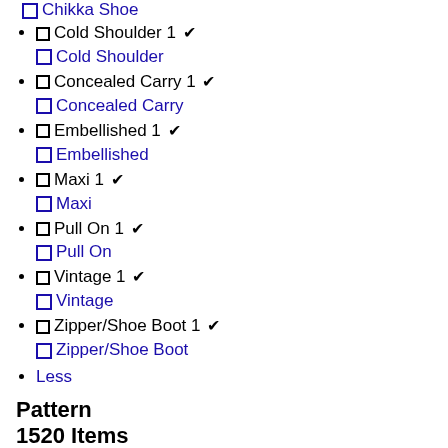Chikka Shoe
Cold Shoulder 1 ✓
Cold Shoulder
Concealed Carry 1 ✓
Concealed Carry
Embellished 1 ✓
Embellished
Maxi 1 ✓
Maxi
Pull On 1 ✓
Pull On
Vintage 1 ✓
Vintage
Zipper/Shoe Boot 1 ✓
Zipper/Shoe Boot
Less
Pattern
1520 Items
Plaid 341 ✓
Plaid
Solid 195 ✓